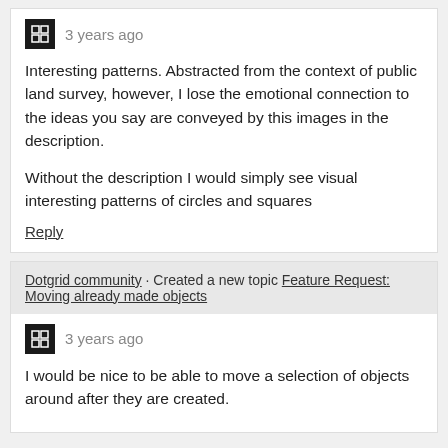3 years ago
Interesting patterns. Abstracted from the context of public land survey, however, I lose the emotional connection to the ideas you say are conveyed by this images in the description.

Without the description I would simply see visual interesting patterns of circles and squares
Reply
Dotgrid community · Created a new topic Feature Request: Moving already made objects
3 years ago
I would be nice to be able to move a selection of objects around after they are created.